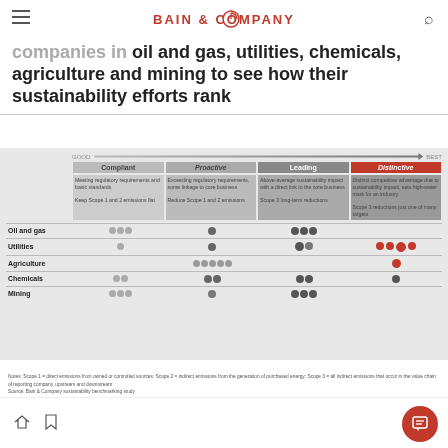BAIN & COMPANY
companies in oil and gas, utilities, chemicals, agriculture and mining to see how their sustainability efforts rank
[Figure (infographic): Sustainability benchmarking matrix showing four maturity levels (Compliant, Proactive, Leading, Distinctive) with dot plots for Oil and gas, Utilities, Agriculture, Chemicals, and Mining industries showing relative positioning across the maturity spectrum.]
Notes: Scope 1 = direct emissions from owned or controlled sources; Scope 2 = indirect emissions from the generation of purchased energy; Scope 3 = all indirect emissions that occur in the value chain of reporting company, upstream and downstream
Source: Bain & Company sustainability benchmarking study